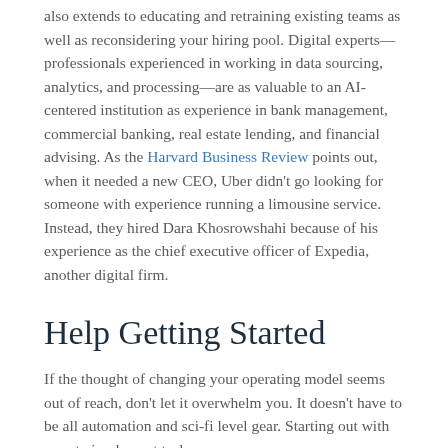also extends to educating and retraining existing teams as well as reconsidering your hiring pool. Digital experts—professionals experienced in working in data sourcing, analytics, and processing—are as valuable to an AI-centered institution as experience in bank management, commercial banking, real estate lending, and financial advising. As the Harvard Business Review points out, when it needed a new CEO, Uber didn't go looking for someone with experience running a limousine service. Instead, they hired Dara Khosrowshahi because of his experience as the chief executive officer of Expedia, another digital firm.
Help Getting Started
If the thought of changing your operating model seems out of reach, don't let it overwhelm you. It doesn't have to be all automation and sci-fi level gear. Starting out with easy to implement tech can